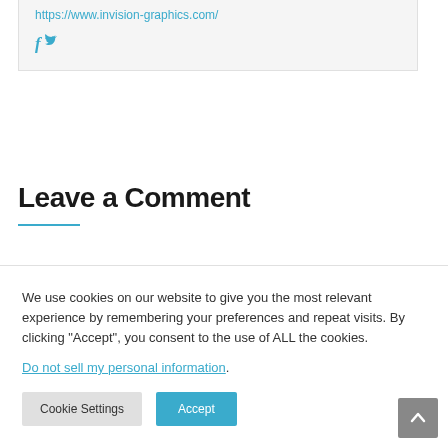https://www.invision-graphics.com/
[Figure (illustration): Facebook and Twitter social media icons in blue]
Leave a Comment
We use cookies on our website to give you the most relevant experience by remembering your preferences and repeat visits. By clicking "Accept", you consent to the use of ALL the cookies.
Do not sell my personal information.
Cookie Settings   Accept